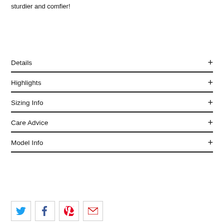sturdier and comfier!
Details
Highlights
Sizing Info
Care Advice
Model Info
[Figure (other): Four social media sharing icons (Twitter/X, Facebook, Pinterest, Email) in small bordered square buttons]